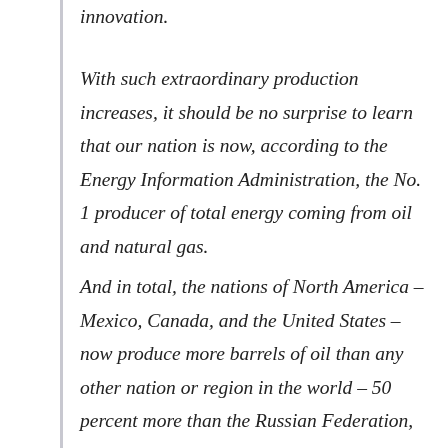innovation.
With such extraordinary production increases, it should be no surprise to learn that our nation is now, according to the Energy Information Administration, the No. 1 producer of total energy coming from oil and natural gas.
And in total, the nations of North America – Mexico, Canada, and the United States – now produce more barrels of oil than any other nation or region in the world – 50 percent more than the Russian Federation, which is